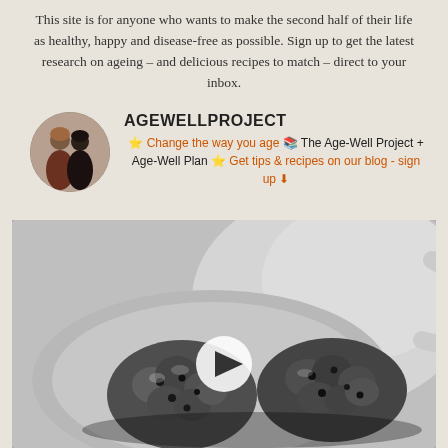This site is for anyone who wants to make the second half of their life as healthy, happy and disease-free as possible. Sign up to get the latest research on ageing – and delicious recipes to match – direct to your inbox.
AGEWELLPROJECT ⭐ Change the way you age 📚 The Age-Well Project + Age-Well Plan ⭐ Get tips & recipes on our blog - sign up ⬇
[Figure (photo): Black and white photo of oat/chocolate chip cookies on a plate next to a white teacup, with a video play button overlay in the center]